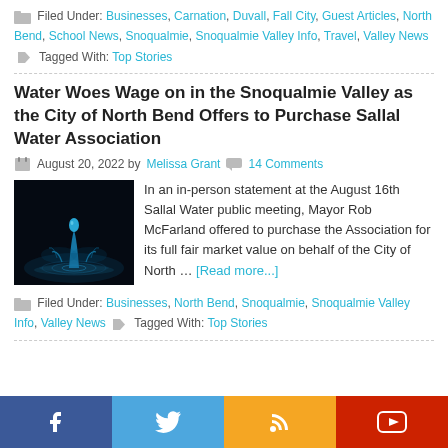Filed Under: Businesses, Carnation, Duvall, Fall City, Guest Articles, North Bend, School News, Snoqualmie, Snoqualmie Valley Info, Travel, Valley News  Tagged With: Top Stories
Water Woes Wage on in the Snoqualmie Valley as the City of North Bend Offers to Purchase Sallal Water Association
August 20, 2022 by Melissa Grant  14 Comments
[Figure (photo): Close-up photo of a water droplet splash against a dark background with blue light reflections]
In an in-person statement at the August 16th Sallal Water public meeting, Mayor Rob McFarland offered to purchase the Association for its full fair market value on behalf of the City of North … [Read more...]
Filed Under: Businesses, North Bend, Snoqualmie, Snoqualmie Valley Info, Valley News  Tagged With: Top Stories
Social bar: Facebook, Twitter, RSS, YouTube